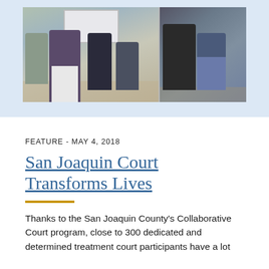[Figure (photo): Group photo of court participants seated in a classroom/meeting room setting, split into two panels. Left panel shows several people including a woman in a purple top and white pants near a whiteboard. Right panel shows two people seated.]
FEATURE  -  MAY 4, 2018
San Joaquin Court Transforms Lives
Thanks to the San Joaquin County's Collaborative Court program, close to 300 dedicated and determined treatment court participants have a lot to celebrate.